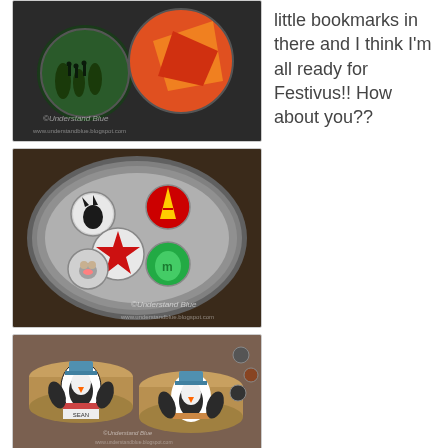[Figure (photo): Photo of decorative button magnets/discs with various designs including green landscape, orange/red abstract, on dark background with watermark 'Understand Blue www.understandblue.blogspot.com']
little bookmarks in there and I think I'm all ready for Festivus!! How about you??
[Figure (photo): Photo of a round metal tin opened to reveal 5 decorative button discs inside - designs include black cat, letter A on red/yellow, red star, dog face, green M&M character. Watermark 'Understand Blue www.understandblue.blogspot.com']
[Figure (photo): Photo of small round metal tins decorated with penguin cutout figures wearing hats and scarves, labeled with names like 'SEAN'. Several tins stacked and arranged, with loose button discs visible to the right.]